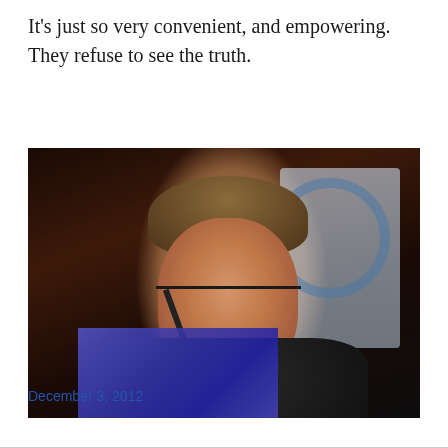It's just so very convenient, and empowering.  They refuse to see the truth.
[Figure (photo): A woman with short brown hair and glasses speaking at a podium with microphones. She is wearing a black jacket with a white collar. A banner with a circular logo is visible in the background.]
December 3, 2012